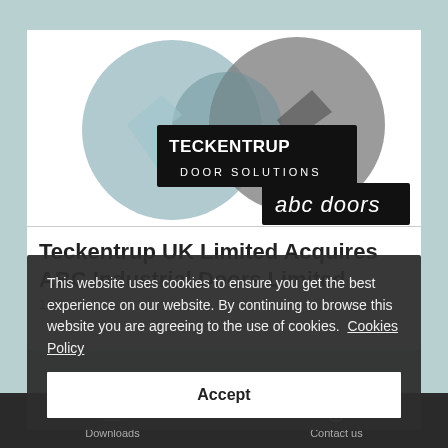[Figure (logo): Teckentrup Door Solutions logo and abc doors logo overlaid on interlocking circular arrows graphic in grey tones]
Teckentrup UK Limited Acquires ABC Industrial Doors Limited
11 Jul...
This website uses cookies to ensure you get the best experience on our website. By continuing to browse this website you are agreeing to the use of cookies. Cookies Policy
Accept
Downloads   Contact us